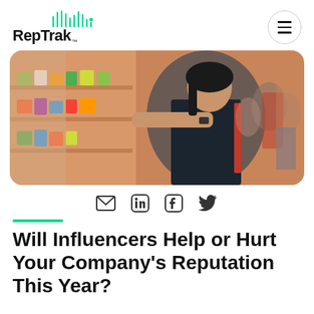RepTrak
[Figure (photo): A young woman with dark hair browses shelves in a busy retail store, reaching toward products. Other shoppers are visible in the background.]
Email, LinkedIn, Facebook, Twitter share icons
Will Influencers Help or Hurt Your Company's Reputation This Year?